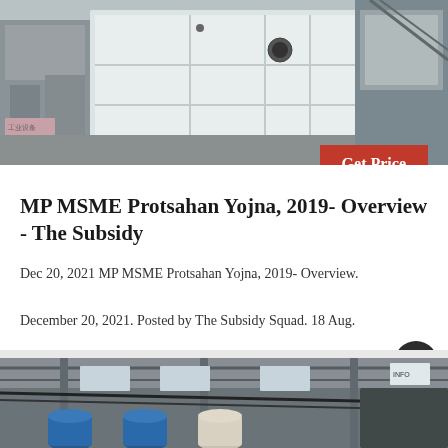[Figure (photo): Industrial machinery (crusher/mill equipment) in a factory setting, white/grey metal machinery on concrete floor]
Get Price
MP MSME Protsahan Yojna, 2019- Overview - The Subsidy
Dec 20, 2021 MP MSME Protsahan Yojna, 2019- Overview.

December 20, 2021. Posted by The Subsidy Squad. 18 Aug.

With an objective to provide incentives to manufacturing...
[Figure (photo): Industrial factory interior with large machinery, blue barrels/tanks visible at bottom, overhead structure with cables]